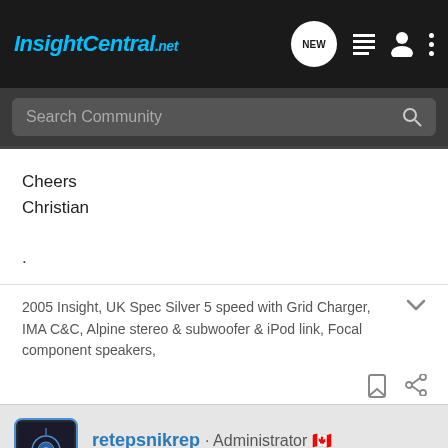InsightCentral.net
Search Community
Cheers
Christian
.
2005 Insight, UK Spec Silver 5 speed with Grid Charger, IMA C&C, Alpine stereo & subwoofer & iPod link, Focal component speakers,
retepsnikrep · Administrator 🇨🇦
Joined Dec 26, 2005 · 13,904 Posts